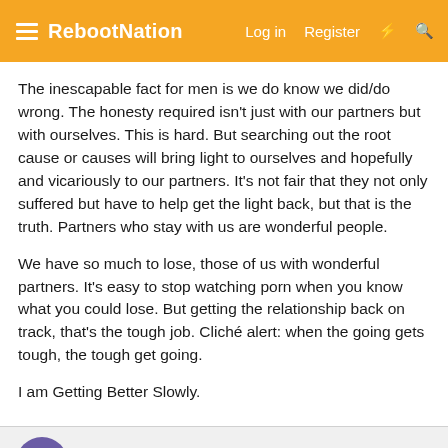RebootNation  Log in  Register
The inescapable fact for men is we do know we did/do wrong. The honesty required isn't just with our partners but with ourselves. This is hard. But searching out the root cause or causes will bring light to ourselves and hopefully and vicariously to our partners. It's not fair that they not only suffered but have to help get the light back, but that is the truth. Partners who stay with us are wonderful people.
We have so much to lose, those of us with wonderful partners. It's easy to stop watching porn when you know what you could lose. But getting the relationship back on track, that's the tough job. Cliché alert: when the going gets tough, the tough get going.
I am Getting Better Slowly.
GBS
Active Member